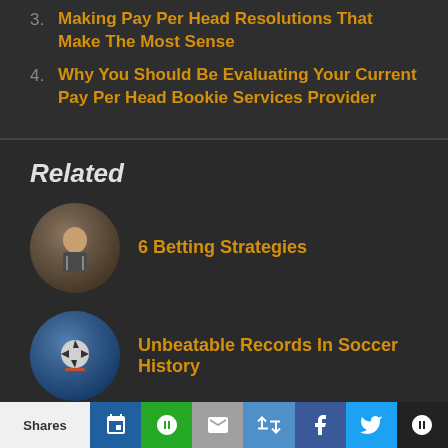3. Making Pay Per Head Resolutions That Make The Most Sense
4. Why You Should Be Evaluating Your Current Pay Per Head Bookie Services Provider
Related
6 Betting Strategies
Unbeatable Records In Soccer History
Shares